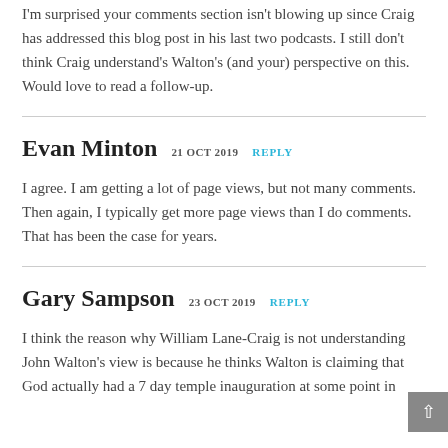I'm surprised your comments section isn't blowing up since Craig has addressed this blog post in his last two podcasts. I still don't think Craig understand's Walton's (and your) perspective on this. Would love to read a follow-up.
Evan Minton  21 OCT 2019  REPLY
I agree. I am getting a lot of page views, but not many comments. Then again, I typically get more page views than I do comments. That has been the case for years.
Gary Sampson  23 OCT 2019  REPLY
I think the reason why William Lane-Craig is not understanding John Walton's view is because he thinks Walton is claiming that God actually had a 7 day temple inauguration at some point in